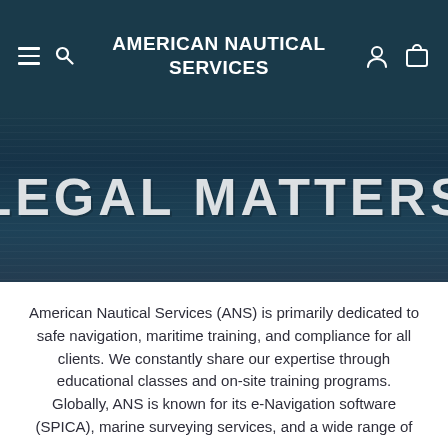AMERICAN NAUTICAL SERVICES
LEGAL MATTERS
American Nautical Services (ANS) is primarily dedicated to safe navigation, maritime training, and compliance for all clients. We constantly share our expertise through educational classes and on-site training programs. Globally, ANS is known for its e-Navigation software (SPICA), marine surveying services, and a wide range of